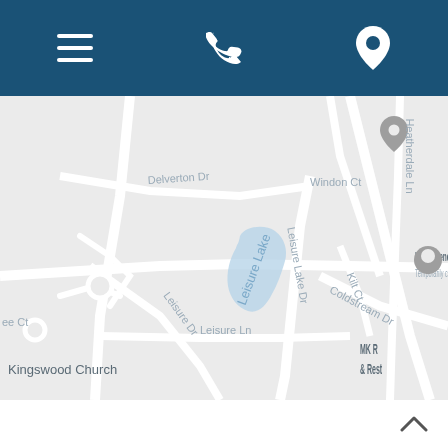[Figure (screenshot): Mobile app header bar with dark blue background containing three icons: hamburger menu (left), phone (center), and map pin/location (right)]
[Figure (map): Google Maps screenshot showing a suburban neighborhood with Leisure Lake, Leisure Lake Dr, Leisure Dr, Leisure Ln, Delverton Dr, Windon Ct, Heatherdale Ln, Coldstream Dr, Kilt Ct, and points of interest including Linux General (Temporarily closed), Kingswood Church, and MK & Rest (partially visible). A gray location pin marker is visible near top right. A small blue water body labeled Leisure Lake is in the center.]